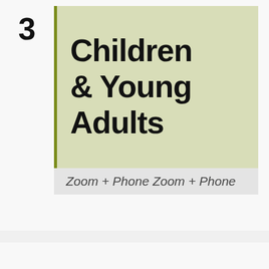3
Children & Young Adults
Zoom + Phone Zoom + Phone
September 5 @ 8:00 pm - 9:30 pm EDT ↺